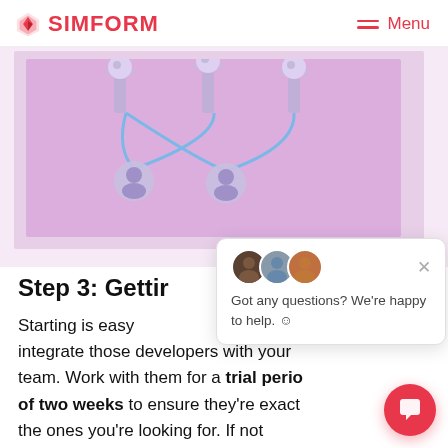SIMFORM  Menu
[Figure (illustration): 3D illustration of connected user/avatar icons on pedestals linked by blue curves, on a pink/lavender background]
Step 3: Getting...
Starting is easy... integrate those developers with your team. Work with them for a trial period of two weeks to ensure they're exact the ones you're looking for. If not
[Figure (screenshot): Chat popup widget showing three avatar portraits and text: 'Got any questions? We're happy to help. :)']
[Figure (other): Red circular chat widget button in bottom-right corner]